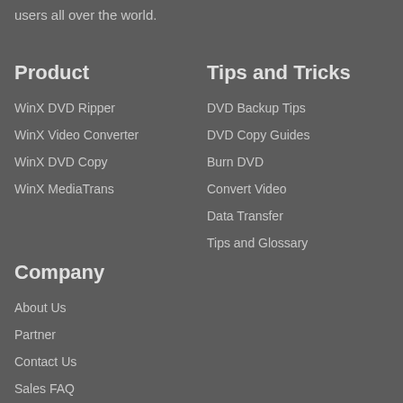users all over the world.
Product
WinX DVD Ripper
WinX Video Converter
WinX DVD Copy
WinX MediaTrans
Tips and Tricks
DVD Backup Tips
DVD Copy Guides
Burn DVD
Convert Video
Data Transfer
Tips and Glossary
Company
About Us
Partner
Contact Us
Sales FAQ
Tech FAQ